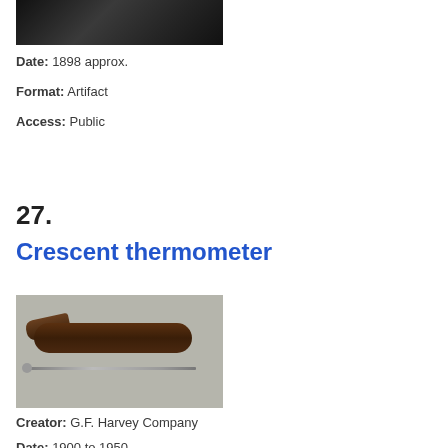[Figure (photo): Top portion of a dark artifact/object, partially cropped at the top of the page]
Date: 1898 approx.
Format: Artifact
Access: Public
27.
Crescent thermometer
[Figure (photo): Photo of a crescent thermometer showing a dark case/holder and a thin thermometer instrument on a gray background]
Creator: G.F. Harvey Company
Date: 1900 to 1950